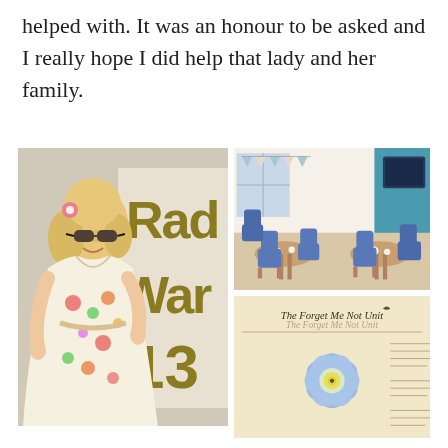helped with. It was an honour to be asked and I really hope I did help that lady and her family.
[Figure (photo): Collage of three photos: (left) a woman with blonde curly hair, sunglasses, and a floral dress standing in front of a sign reading 'Rad War 13'; (top right) a care home common room with blue chairs and tables set for tea; (bottom right) a document with 'The Forget Me Not Unit' text and a blue forget-me-not flower illustration.]